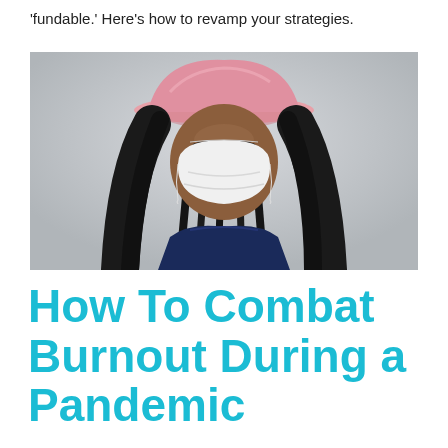'fundable.' Here's how to revamp your strategies.
[Figure (photo): Portrait of a person wearing a white face mask and a pink baseball cap, with long black braided hair, against a light gray background, wearing a dark blue jacket.]
How To Combat Burnout During a Pandemic